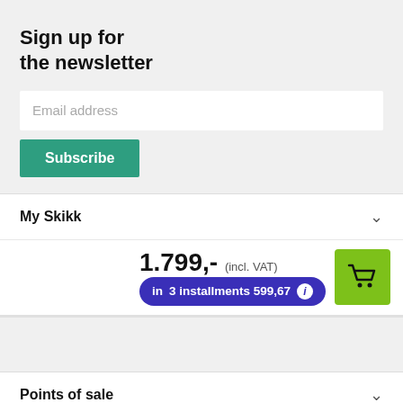Sign up for the newsletter
Email address
Subscribe
My Skikk
1.799,- (incl. VAT) in 3 installments 599,67
Points of sale